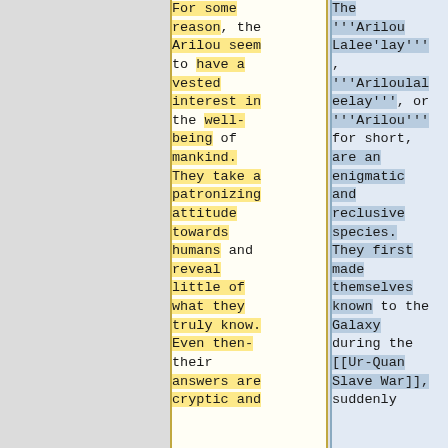For some reason, the Arilou seem to have a vested interest in the well-being of mankind. They take a patronizing attitude towards humans and reveal little of what they truly know. Even then- their answers are cryptic and
The '''Arilou Lalee'lay''', '''Ariloulaleelay''', or '''Arilou''' for short, are an enigmatic and reclusive species. They first made themselves known to the Galaxy during the [[Ur-Quan Slave War]], suddenly